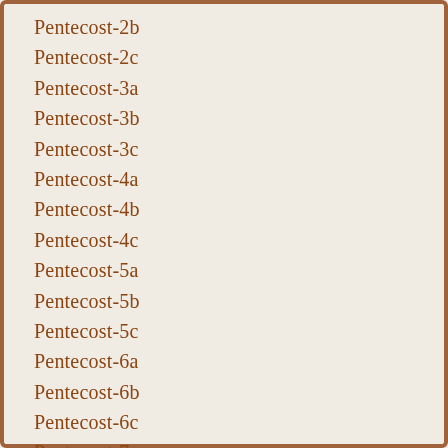Pentecost-2b
Pentecost-2c
Pentecost-3a
Pentecost-3b
Pentecost-3c
Pentecost-4a
Pentecost-4b
Pentecost-4c
Pentecost-5a
Pentecost-5b
Pentecost-5c
Pentecost-6a
Pentecost-6b
Pentecost-6c
Pentecost-7a
Pentecost-7b
Pentecost-7c
Pentecost-8a
Pentecost-8b